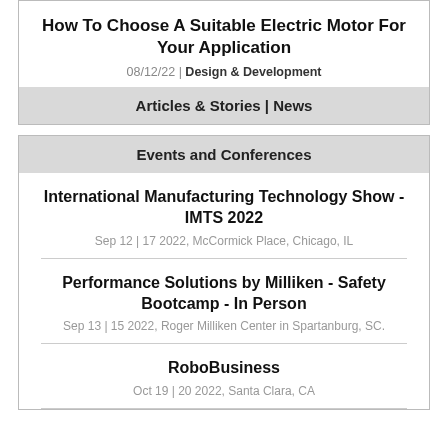How To Choose A Suitable Electric Motor For Your Application
08/12/22 | Design & Development
Articles & Stories | News
Events and Conferences
International Manufacturing Technology Show - IMTS 2022
Sep 12 | 17 2022, McCormick Place, Chicago, IL
Performance Solutions by Milliken - Safety Bootcamp - In Person
Sep 13 | 15 2022, Roger Milliken Center in Spartanburg, SC.
RoboBusiness
Oct 19 | 20 2022, Santa Clara, CA